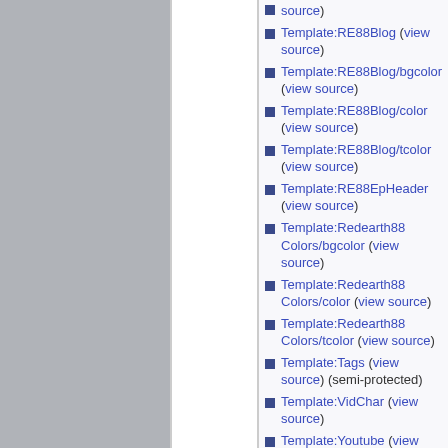source)
Template:RE88Blog (view source)
Template:RE88Blog/bgcolor (view source)
Template:RE88Blog/color (view source)
Template:RE88Blog/tcolor (view source)
Template:RE88EpHeader (view source)
Template:Redearth88 Colors/bgcolor (view source)
Template:Redearth88 Colors/color (view source)
Template:Redearth88 Colors/tcolor (view source)
Template:Tags (view source) (semi-protected)
Template:VidChar (view source)
Template:Youtube (view source) (semi-protected)